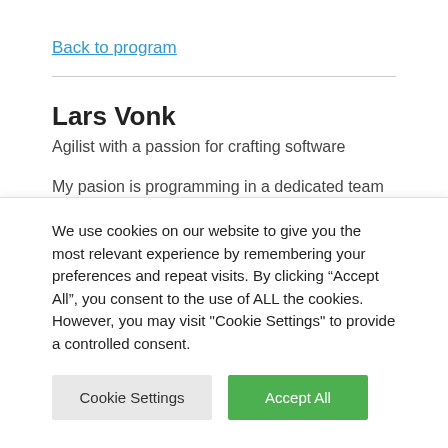Back to program
Lars Vonk
Agilist with a passion for crafting software
My pasion is programming in a dedicated team and
We use cookies on our website to give you the most relevant experience by remembering your preferences and repeat visits. By clicking “Accept All”, you consent to the use of ALL the cookies. However, you may visit "Cookie Settings" to provide a controlled consent.
Cookie Settings
Accept All